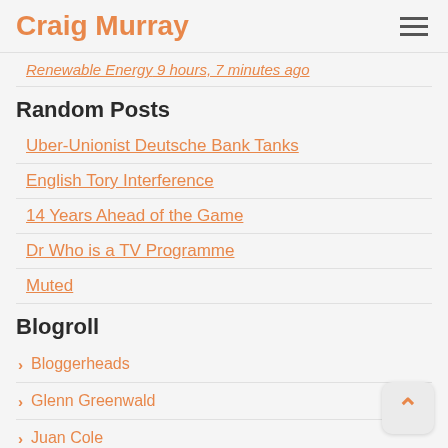Craig Murray
Renewable Energy 9 hours, 7 minutes ago
Random Posts
Uber-Unionist Deutsche Bank Tanks
English Tory Interference
14 Years Ahead of the Game
Dr Who is a TV Programme
Muted
Blogroll
Bloggerheads
Glenn Greenwald
Juan Cole
Lenin's Tomb
Obsolete
Subrosa Blonde